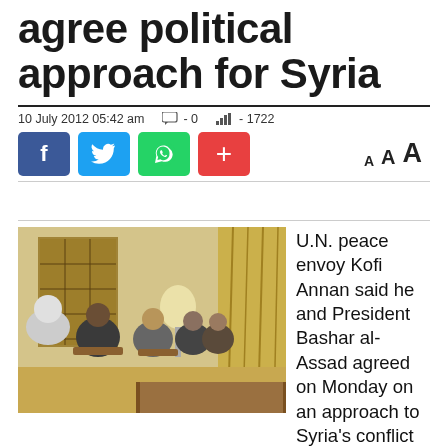agree political approach for Syria
10 July 2012 05:42 am   □ - 0   ull - 1722
[Figure (photo): Meeting scene showing Kofi Annan and President Bashar al-Assad seated with other officials in a formal room with decorative wooden screens and curtains]
U.N. peace envoy Kofi Annan said he and President Bashar al-Assad agreed on Monday on an approach to Syria's conflict